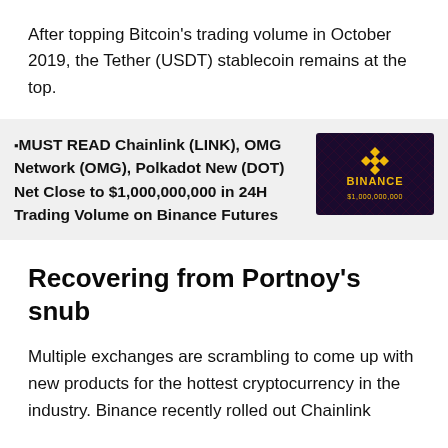After topping Bitcoin's trading volume in October 2019, the Tether (USDT) stablecoin remains at the top.
🔲MUST READ Chainlink (LINK), OMG Network (OMG), Polkadot New (DOT) Net Close to $1,000,000,000 in 24H Trading Volume on Binance Futures
[Figure (illustration): Binance branded card image showing '$1,000,000,000' text in gold on dark background with Binance logo]
Recovering from Portnoy's snub
Multiple exchanges are scrambling to come up with new products for the hottest cryptocurrency in the industry. Binance recently rolled out Chainlink